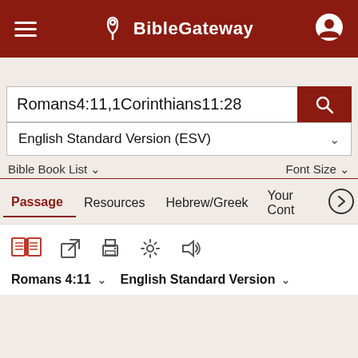BibleGateway
Romans4:11,1Corinthians11:28
English Standard Version (ESV)
Bible Book List   Font Size
Passage   Resources   Hebrew/Greek   Your Cont
Romans 4:11   English Standard Version